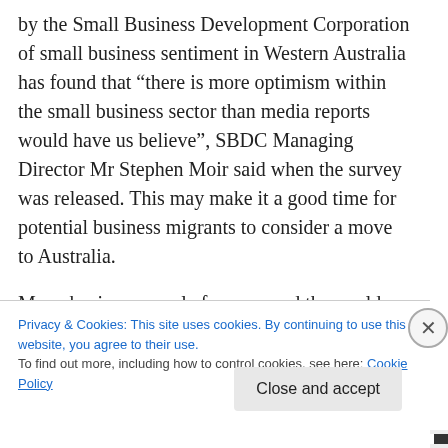by the Small Business Development Corporation of small business sentiment in Western Australia has found that “there is more optimism within the small business sector than media reports would have us believe”, SBDC Managing Director Mr Stephen Moir said when the survey was released. This may make it a good time for potential business migrants to consider a move to Australia.
Many business people from around the world have already taken advantage of the opportunities offered
Privacy & Cookies: This site uses cookies. By continuing to use this website, you agree to their use.
To find out more, including how to control cookies, see here: Cookie Policy